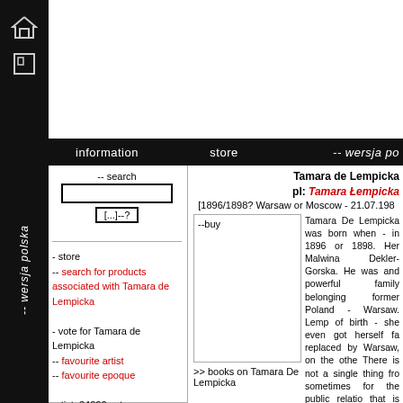information   store   -- wersja polska
-- search
[...]--?
- store
-- search for products associated with Tamara de Lempicka
- vote for Tamara de Lempicka
-- favourite artist
-- favourite epoque
artist: 34006 votes
epoque: 162506 votes
-- viewed 396558 times
Tamara de Lempicka
pl: Tamara Łempicka
[1896/1898? Warsaw or Moscow - 21.07.198
--buy
Tamara De Lempicka was born when - in 1896 or 1898. Her Malwina Dekler-Gorska. He was and powerful family belonging former Poland - Warsaw. Lemp of birth - she even got herself fa replaced by Warsaw, on the othe There is not a single thing fro sometimes for the public relatio that is why her story of life i masters of early gothic. As a few years old child Lem deepest hidden secrets. Official her mother. More probable, even She grew at her mother's family former Poland which belonged t
>> books on Tamara De Lempicka